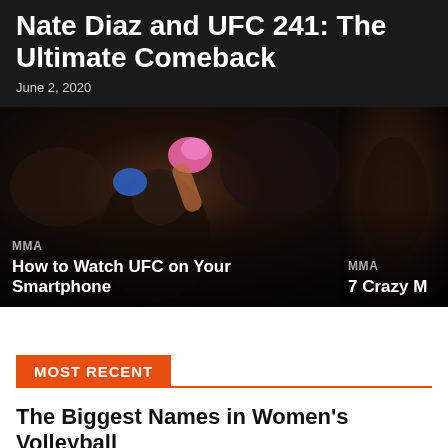Nate Diaz and UFC 241: The Ultimate Comeback
June 2, 2020
[Figure (photo): MMA fighters in action, left card: How to Watch UFC on Your Smartphone; right card (partial): 7 Crazy M...]
MOST RECENT
The Biggest Names in Women's Volleyball
Volleyball  January 20, 2021